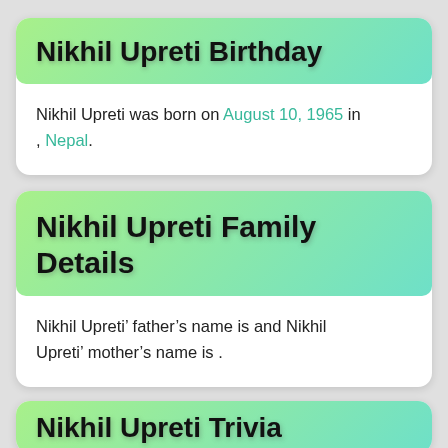Nikhil Upreti Birthday
Nikhil Upreti was born on August 10, 1965 in , Nepal.
Nikhil Upreti Family Details
Nikhil Upreti' father's name is and Nikhil Upreti' mother's name is .
Nikhil Upreti Trivia